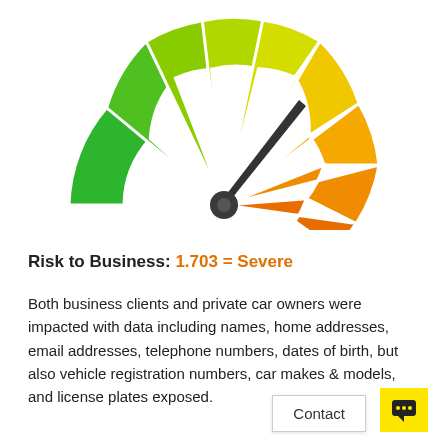[Figure (other): Gauge/speedometer chart showing risk level. The needle points roughly to the 8 o'clock position (towards high/severe end). Segments go from green (low risk, left) through yellow-green, yellow, orange, dark orange, red (high risk, right). The needle points toward the orange-red zone.]
Risk to Business: 1.703 = Severe
Both business clients and private car owners were impacted with data including names, home addresses, email addresses, telephone numbers, dates of birth, but also vehicle registration numbers, car makes & models, and license plates exposed.